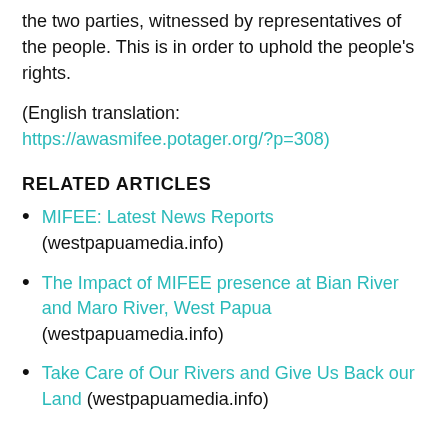the two parties, witnessed by representatives of the people. This is in order to uphold the people's rights.
(English translation: https://awasmifee.potager.org/?p=308)
RELATED ARTICLES
MIFEE: Latest News Reports (westpapuamedia.info)
The Impact of MIFEE presence at Bian River and Maro River, West Papua (westpapuamedia.info)
Take Care of Our Rivers and Give Us Back our Land (westpapuamedia.info)